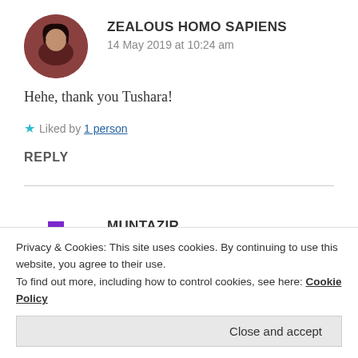ZEALOUS HOMO SAPIENS
14 May 2019 at 10:24 am
Hehe, thank you Tushara!
★ Liked by 1 person
REPLY
MUNTAZIR
14 May 2019 at 10:14 am
Privacy & Cookies: This site uses cookies. By continuing to use this website, you agree to their use.
To find out more, including how to control cookies, see here: Cookie Policy
Close and accept